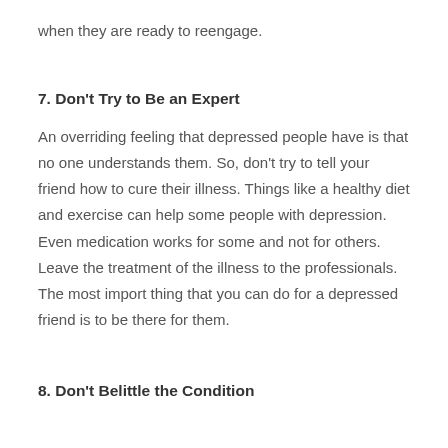when they are ready to reengage.
7. Don't Try to Be an Expert
An overriding feeling that depressed people have is that no one understands them. So, don't try to tell your friend how to cure their illness. Things like a healthy diet and exercise can help some people with depression. Even medication works for some and not for others. Leave the treatment of the illness to the professionals. The most import thing that you can do for a depressed friend is to be there for them.
8. Don't Belittle the Condition